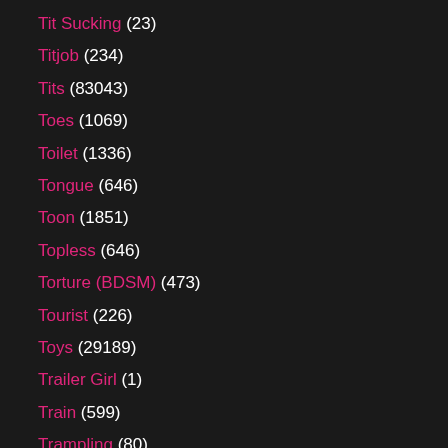Tit Sucking (23)
Titjob (234)
Tits (83043)
Toes (1069)
Toilet (1336)
Tongue (646)
Toon (1851)
Topless (646)
Torture (BDSM) (473)
Tourist (226)
Toys (29189)
Trailer Girl (1)
Train (599)
Trampling (80)
Tranny (2827)
Transsexual (288)